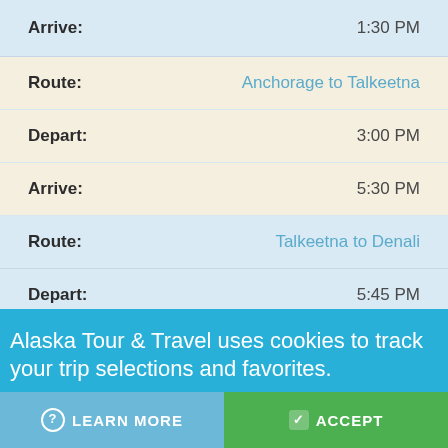| Label | Value |
| --- | --- |
| Arrive: | 1:30 PM |
| Route: | Anchorage to Talkeetna |
| Depart: | 3:00 PM |
| Arrive: | 5:30 PM |
| Route: | Talkeetna to Denali |
| Depart: | 5:45 PM |
| Arrive: | 8:30 PM |
Alaska Tour & Travel uses cookies to track your trip selections and favorites.
LEARN MORE
ACCEPT